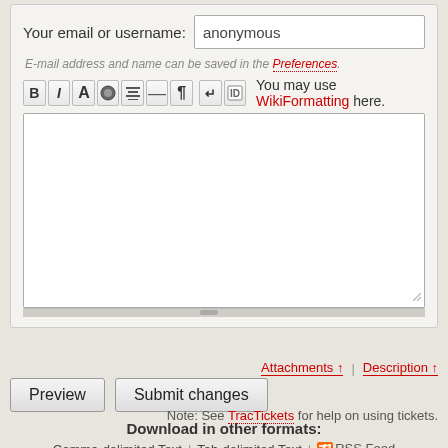Your email or username: anonymous
E-mail address and name can be saved in the Preferences.
[Figure (screenshot): Wiki text editor toolbar with bold, italic, color, bullet, rule, paragraph buttons, and text area]
You may use WikiFormatting here.
Attachments ↑   Description ↑
Preview   Submit changes
Note: See TracTickets for help on using tickets.
Download in other formats:
Comma-delimited Text | Tab-delimited Text | RSS Feed
Powered by Trac 1.2 By Edgewall Software.
BitlBee: An IRC to other chat networks gateway